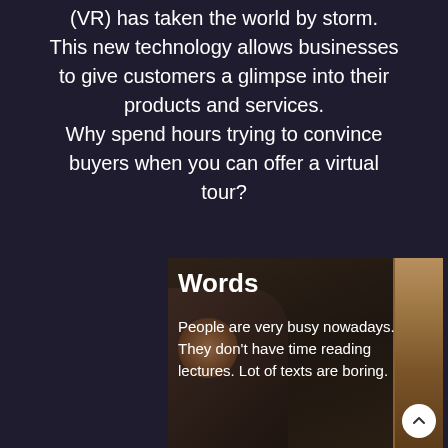(VR) has taken the world by storm. This new technology allows businesses to give customers a glimpse into their products and services. Why spend hours trying to convince buyers when you can offer a virtual tour?
[Figure (photo): A person photographed against a wooden interior background, partially visible on the right side.]
Words
People are very busy nowadays. They don't have time reading lectures. Lot of texts are boring.